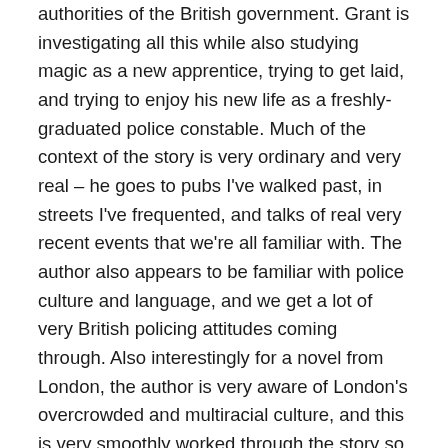authorities of the British government. Grant is investigating all this while also studying magic as a new apprentice, trying to get laid, and trying to enjoy his new life as a freshly-graduated police constable. Much of the context of the story is very ordinary and very real – he goes to pubs I've walked past, in streets I've frequented, and talks of real very recent events that we're all familiar with. The author also appears to be familiar with police culture and language, and we get a lot of very British policing attitudes coming through. Also interestingly for a novel from London, the author is very aware of London's overcrowded and multiracial culture, and this is very smoothly worked through the story so that, for those of us who have lived in London, it really does feel like the London we know rather than the sanitized all-cockney-all-the-time London that, say, the Imperial War Museum likes to present. The lead character is himself mixed-race, his mother West African